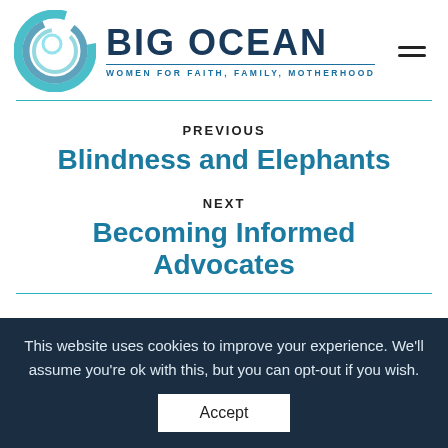[Figure (logo): Big Ocean Women logo with teal circular swirl graphic and text 'BIG OCEAN' and 'WOMEN FOR FAITH, FAMILY, MOTHERHOOD']
PREVIOUS
Blindness and Elephants
NEXT
Becoming Informed Advocates
This website uses cookies to improve your experience. We'll assume you're ok with this, but you can opt-out if you wish.
Accept